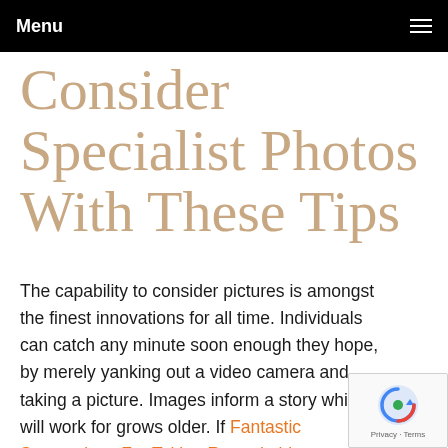Menu
Consider Specialist Photos With These Tips
The capability to consider pictures is amongst the finest innovations for all time. Individuals can catch any minute soon enough they hope, by merely yanking out a video camera and taking a picture. Images inform a story which will work for grows older. If Fantastic Suggestions For Taking Remarkable Photographs You'll Love want good quality tips on taking photos, then look at this post.